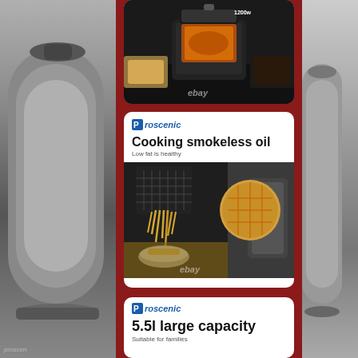[Figure (photo): Top card showing air fryer with food cooking inside, glowing orange heating element visible, ebay watermark, temperature label 1200W visible top right. Dark background with food items on sides.]
[Figure (photo): Middle card with Proscenic logo at top, text 'Cooking smokeless oil' as heading and 'Low fat is healthy' as subtext, below is a photo showing air fryer basket pouring crispy fries into a bowl and a circular close-up of food in fryer basket, ebay watermark visible.]
[Figure (photo): Bottom card (partially visible) showing Proscenic logo, large text '5.5l large capacity', subtext 'Suitable for families', and a photo of the Proscenic air fryer appliance.]